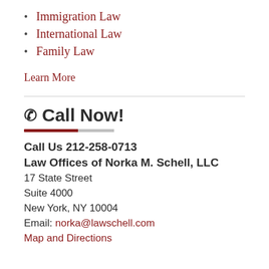Immigration Law
International Law
Family Law
Learn More
Call Now!
Call Us 212-258-0713
Law Offices of Norka M. Schell, LLC
17 State Street
Suite 4000
New York, NY 10004
Email: norka@lawschell.com
Map and Directions